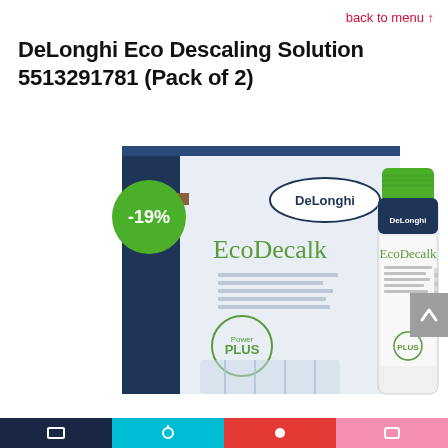back to menu ↑
DeLonghi Eco Descaling Solution 5513291781 (Pack of 2)
[Figure (photo): DeLonghi EcoDecalk descaling solution product photo showing the box packaging and a bottle. A green circular badge shows -19% discount. Box features EcoDecalk branding, Power PLUS logo, and DeLonghi badge. Bottle has a green cap, white label with DeLonghi EcoDecalk text.]
Navigation bar with dark blue, cyan, red, and pink segments